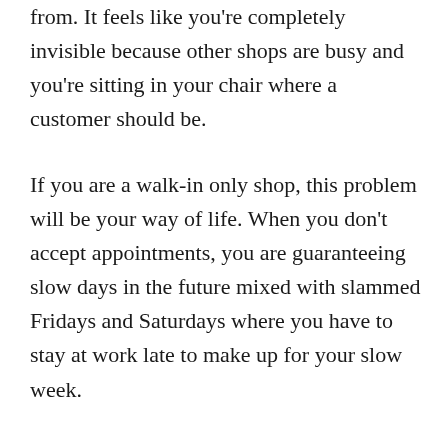from. It feels like you're completely invisible because other shops are busy and you're sitting in your chair where a customer should be.
If you are a walk-in only shop, this problem will be your way of life. When you don't accept appointments, you are guaranteeing slow days in the future mixed with slammed Fridays and Saturdays where you have to stay at work late to make up for your slow week.
When I was first getting started, I didn't want to ask my clients to rebook for a number of reasons.
It felt too forward. I didn't want to